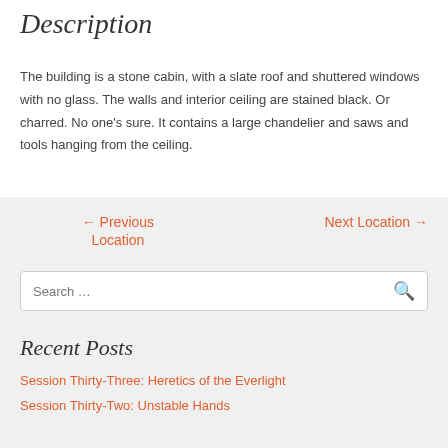Description
The building is a stone cabin, with a slate roof and shuttered windows with no glass. The walls and interior ceiling are stained black. Or charred. No one’s sure. It contains a large chandelier and saws and tools hanging from the ceiling.
← Previous Location
Next Location →
Search …
Recent Posts
Session Thirty-Three: Heretics of the Everlight
Session Thirty-Two: Unstable Hands